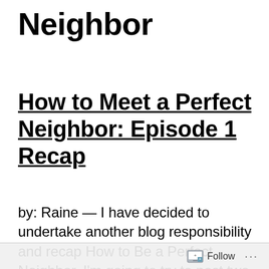Neighbor
How to Meet a Perfect Neighbor: Episode 1 Recap
by: Raine — I have decided to undertake another blog responsibility and recap How to Be a Perfect Neighbor. I'm going to try to post two a week as though I am watching it while it
Follow ...